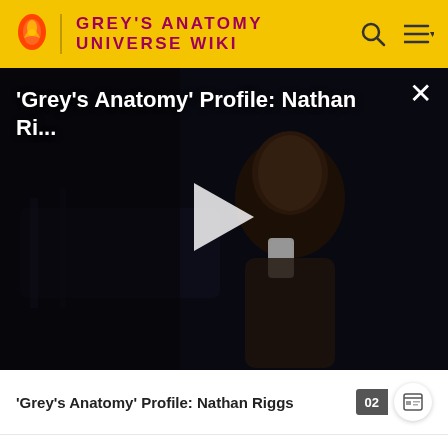GREY'S ANATOMY UNIVERSE WIKI
[Figure (screenshot): Video thumbnail showing 'Grey's Anatomy' Profile: Nathan Ri... with a dark hospital scene and a man holding a phone, with a play button in the center and an X close button]
'Grey's Anatomy' Profile: Nathan Riggs
Relationships
Romantic